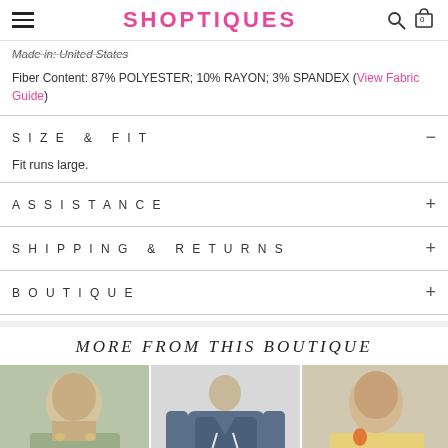SHOPTIQUES
Made in: United States
Fiber Content: 87% POLYESTER; 10% RAYON; 3% SPANDEX (View Fabric Guide)
SIZE & FIT
Fit runs large.
ASSISTANCE
SHIPPING & RETURNS
BOUTIQUE
MORE FROM THIS BOUTIQUE
[Figure (photo): Three product photos showing clothing items: a woman in a green top, a blue hoodie on a mannequin, and a woman in a colorful knit sweater]